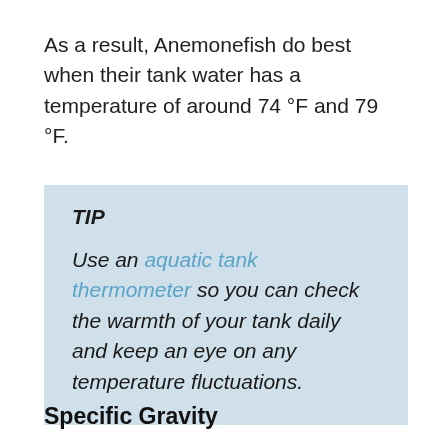As a result, Anemonefish do best when their tank water has a temperature of around 74 °F and 79 °F.
TIP

Use an aquatic tank thermometer so you can check the warmth of your tank daily and keep an eye on any temperature fluctuations.
Specific Gravity